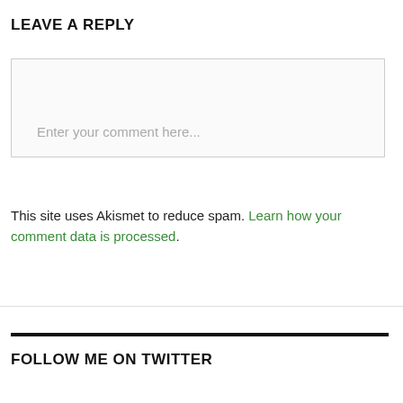LEAVE A REPLY
Enter your comment here...
This site uses Akismet to reduce spam. Learn how your comment data is processed.
FOLLOW ME ON TWITTER